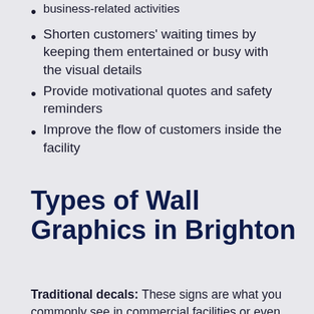business-related activities
Shorten customers' waiting times by keeping them entertained or busy with the visual details
Provide motivational quotes and safety reminders
Improve the flow of customers inside the facility
Types of Wall Graphics in Brighton
Traditional decals: These signs are what you commonly see in commercial facilities or even some residential areas as well. We print your designs on PVC plastic using start-of-the-art equipment and give them a contour cut for best results.
Vinyl stickers: These highly customizable cutouts come in various shapes and sizes. You can choose between non-reusable and reusable materials, depending on your